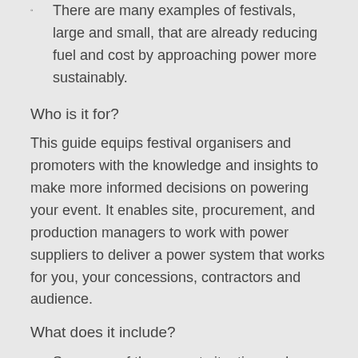There are many examples of festivals, large and small, that are already reducing fuel and cost by approaching power more sustainably.
Who is it for?
This guide equips festival organisers and promoters with the knowledge and insights to make more informed decisions on powering your event. It enables site, procurement, and production managers to work with power suppliers to deliver a power system that works for you, your concessions, contractors and audience.
What does it include?
Summary of the current situation and future directions
Case studies & practical examples
A guide to temporary power systems